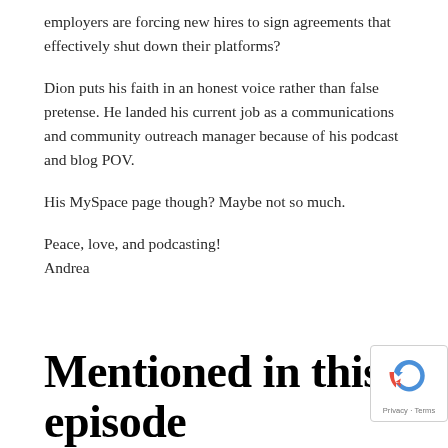employers are forcing new hires to sign agreements that effectively shut down their platforms?
Dion puts his faith in an honest voice rather than false pretense. He landed his current job as a communications and community outreach manager because of his podcast and blog POV.
His MySpace page though? Maybe not so much.
Peace, love, and podcasting!
Andrea
Mentioned in this episode